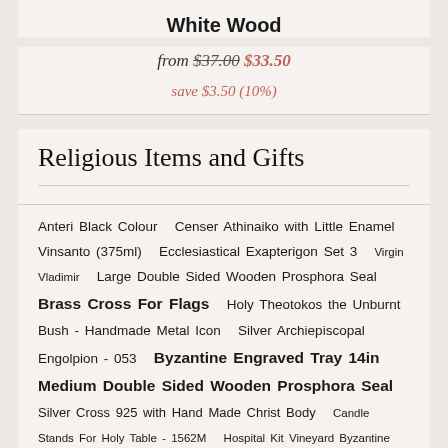White Wood
from $37.00 $33.50
save $3.50 (10%)
Religious Items and Gifts
Anteri Black Colour  Censer Athinaiko with Little Enamel  Vinsanto (375ml)  Ecclesiastical Exapterigon Set 3  Virgin Vladimir  Large Double Sided Wooden Prosphora Seal  Brass Cross For Flags  Holy Theotokos the Unburnt Bush - Handmade Metal Icon  Silver Archiepiscopal Engolpion - 053  Byzantine Engraved Tray 14in  Medium Double Sided Wooden Prosphora Seal  Silver Cross 925 with Hand Made Christ Body  Candle Stands For Holy Table - 1562M  Hospital Kit Vineyard Byzantine Design - 411  Silver Pectoral Cross - 229